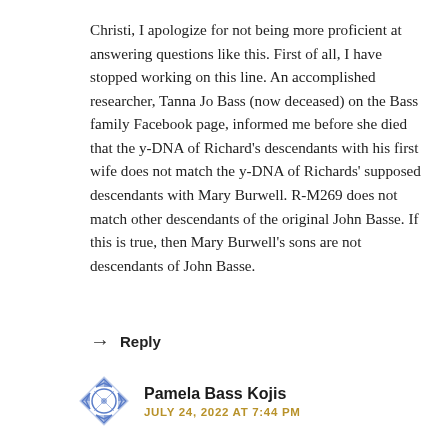Christi, I apologize for not being more proficient at answering questions like this. First of all, I have stopped working on this line. An accomplished researcher, Tanna Jo Bass (now deceased) on the Bass family Facebook page, informed me before she died that the y-DNA of Richard's descendants with his first wife does not match the y-DNA of Richards' supposed descendants with Mary Burwell. R-M269 does not match other descendants of the original John Basse. If this is true, then Mary Burwell's sons are not descendants of John Basse.
↩ Reply
Pamela Bass Kojis
JULY 24, 2022 AT 7:44 PM